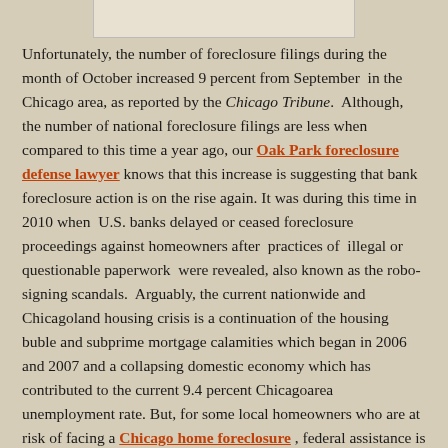[Figure (photo): Partial image visible at the top of the page, cropped — shows bottom portion of a photo.]
Unfortunately, the number of foreclosure filings during the month of October increased 9 percent from September in the Chicago area, as reported by the Chicago Tribune. Although, the number of national foreclosure filings are less when compared to this time a year ago, our Oak Park foreclosure defense lawyer knows that this increase is suggesting that bank foreclosure action is on the rise again. It was during this time in 2010 when U.S. banks delayed or ceased foreclosure proceedings against homeowners after practices of illegal or questionable paperwork were revealed, also known as the robo- signing scandals. Arguably, the current nationwide and Chicagoland housing crisis is a continuation of the housing buble and subprime mortgage calamities which began in 2006 and 2007 and a collapsing domestic economy which has contributed to the current 9.4 percent Chicagoarea unemployment rate. But, for some local homeowners who are at risk of facing a Chicago home foreclosure , federal assistance is on its way to help them remain in their homes.
On October 24th, the Obama Administration announced a major